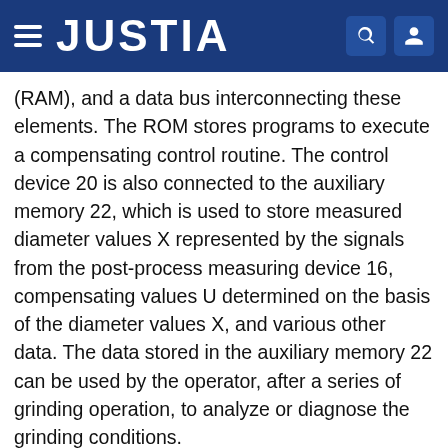JUSTIA
(RAM), and a data bus interconnecting these elements. The ROM stores programs to execute a compensating control routine. The control device 20 is also connected to the auxiliary memory 22, which is used to store measured diameter values X represented by the signals from the post-process measuring device 16, compensating values U determined on the basis of the diameter values X, and various other data. The data stored in the auxiliary memory 22 can be used by the operator, after a series of grinding operation, to analyze or diagnose the grinding conditions.
A major portion of the above compensating control routine is illustrated in the flow charts of FIGS. 4-9. Before describing in detail the routine executed by the control device 20 by reference to these flow charts, the function of the present feedback compensating